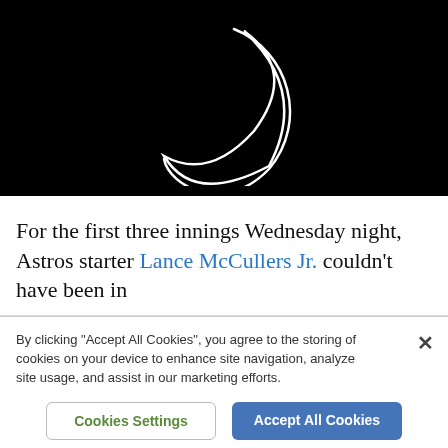[Figure (photo): Black background with a white crescent moon shape (thin curved line resembling a loading spinner or crescent) centered in the frame.]
For the first three innings Wednesday night, Astros starter Lance McCullers Jr. couldn’t have been in
By clicking “Accept All Cookies”, you agree to the storing of cookies on your device to enhance site navigation, analyze site usage, and assist in our marketing efforts.
Cookies Settings
Accept All Cookies